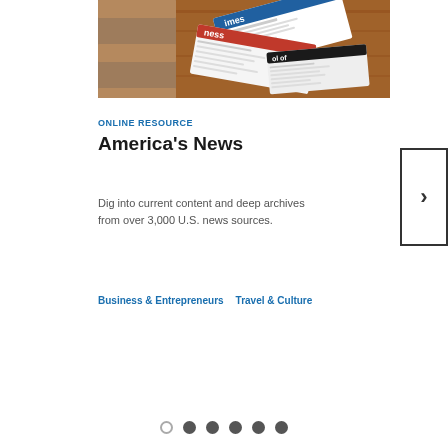[Figure (photo): Photo of rolled/folded newspapers in a wooden mailbox or tray, showing partial newspaper mastheads including 'Times' and 'Business' text visible on the papers.]
ONLINE RESOURCE
America's News
Dig into current content and deep archives from over 3,000 U.S. news sources.
Business & Entrepreneurs
Travel & Culture